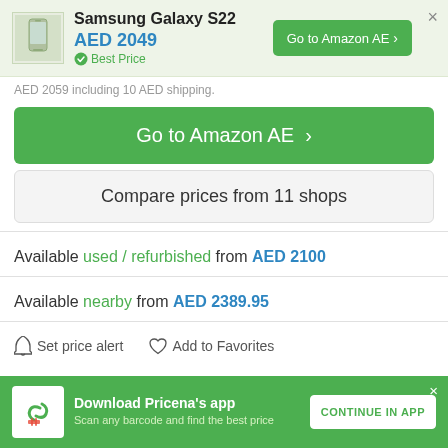Samsung Galaxy S22
AED 2049
Best Price
Go to Amazon AE
AED 2059 including 10 AED shipping.
Go to Amazon AE
Compare prices from 11 shops
Available used / refurbished from AED 2100
Available nearby from AED 2389.95
Set price alert   Add to Favorites
Download Pricena's app
Scan any barcode and find the best price
CONTINUE IN APP